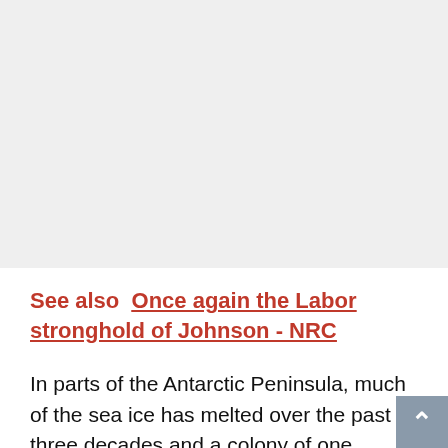[Figure (photo): Large image placeholder area, light gray background, occupying top portion of the page]
See also  Once again the Labor stronghold of Johnson - NRC
In parts of the Antarctic Peninsula, much of the sea ice has melted over the past three decades and a colony of one emperor penguin has already disappeared, the